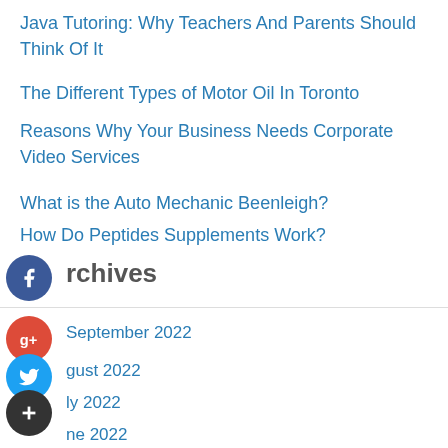Java Tutoring: Why Teachers And Parents Should Think Of It
The Different Types of Motor Oil In Toronto
Reasons Why Your Business Needs Corporate Video Services
What is the Auto Mechanic Beenleigh?
How Do Peptides Supplements Work?
Archives
September 2022
August 2022
July 2022
June 2022
May 2022
April 2022